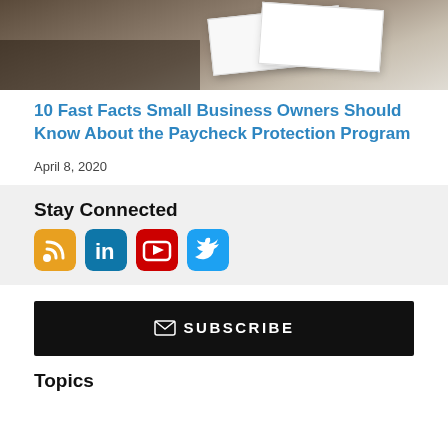[Figure (photo): Photo of documents/papers on a desk, seen from above, partially cropped at top]
10 Fast Facts Small Business Owners Should Know About the Paycheck Protection Program
April 8, 2020
Stay Connected
[Figure (infographic): Social media icons: RSS (orange), LinkedIn (blue), YouTube (red), Twitter (light blue)]
[Figure (infographic): Black subscribe button with envelope icon and text SUBSCRIBE]
Topics